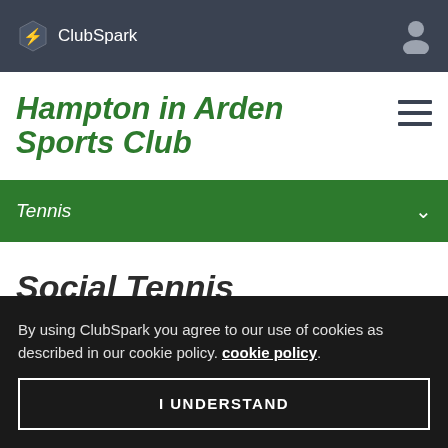ClubSpark
Hampton in Arden Sports Club
Tennis
Social Tennis
By using ClubSpark you agree to our use of cookies as described in our cookie policy. cookie policy.
I UNDERSTAND